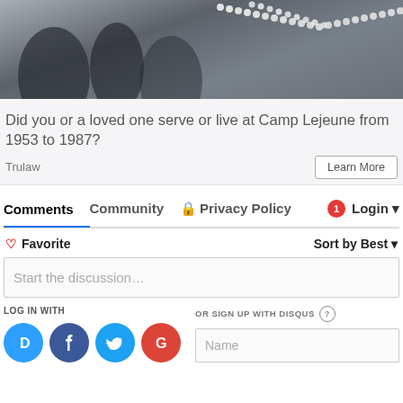[Figure (photo): Grayscale photo of people wearing beaded/pearl jewelry or decorations, dark and light contrasts]
Did you or a loved one serve or live at Camp Lejeune from 1953 to 1987?
Trulaw
Learn More
Comments
Community
Privacy Policy
1
Login
Favorite
Sort by Best
Start the discussion…
LOG IN WITH
OR SIGN UP WITH DISQUS
Name